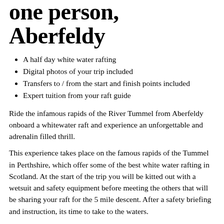one person, Aberfeldy
A half day white water rafting
Digital photos of your trip included
Transfers to / from the start and finish points included
Expert tuition from your raft guide
Ride the infamous rapids of the River Tummel from Aberfeldy onboard a whitewater raft and experience an unforgettable and adrenalin filled thrill.
This experience takes place on the famous rapids of the Tummel in Perthshire, which offer some of the best white water rafting in Scotland. At the start of the trip you will be kitted out with a wetsuit and safety equipment before meeting the others that will be sharing your raft for the 5 mile descent. After a safety briefing and instruction, its time to take to the waters.
Up stream the waters are quiet, allowing time to become familiar with your raft. As you travel down stream, you'll soon be riding over rapids including ‘The Zoom Flume’ ‘Washing Machine’ and through Eddie Fences. Look out for standing waves and pool-drops, guaranteed to make your trip even more exciting!